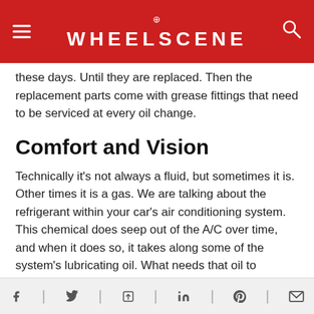WHEELSCENE
these days. Until they are replaced. Then the replacement parts come with grease fittings that need to be serviced at every oil change.
Comfort and Vision
Technically it's not always a fluid, but sometimes it is. Other times it is a gas. We are talking about the refrigerant within your car's air conditioning system. This chemical does seep out of the A/C over time, and when it does so, it takes along some of the system's lubricating oil. What needs that oil to survive? The expensive A/C compressor does. Don't overfill the A/C. It's dangerous. It generates pressures over 300 psi (Your tires only take 30psi). It damages the system. Have a professional shop
Social share icons: Facebook, Twitter, Share, LinkedIn, Pinterest, Email